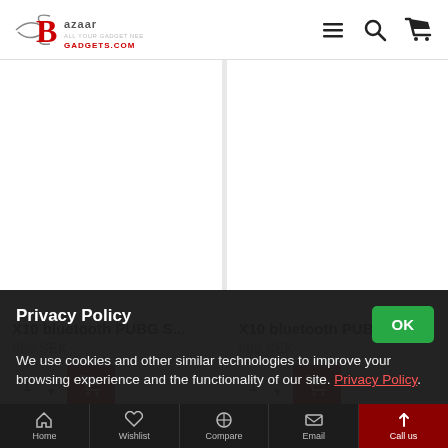[Figure (logo): Bazaar Gadgets logo with stylized B in red and shopping wings]
X10 bluetooth PUBG S...
689 SEK
X10 bluetooth PUBG S...
689 SEK
Privacy Policy
We use cookies and other similar technologies to improve your browsing experience and the functionality of our site. Privacy Policy.
Home  Wishlist  Compare  Email  Call us